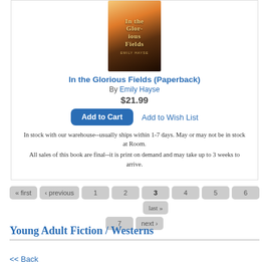[Figure (illustration): Book cover of 'In the Glorious Fields' by Emily Hayse — warm orange/golden sky background with a silhouette figure]
In the Glorious Fields (Paperback)
By Emily Hayse
$21.99
Add to Cart | Add to Wish List
In stock with our warehouse--usually ships within 1-7 days. May or may not be in stock at Room.
All sales of this book are final--it is print on demand and may take up to 3 weeks to arrive.
« first ‹ previous 1 2 3 4 5 6 7 next » last »
Young Adult Fiction / Westerns
<< Back